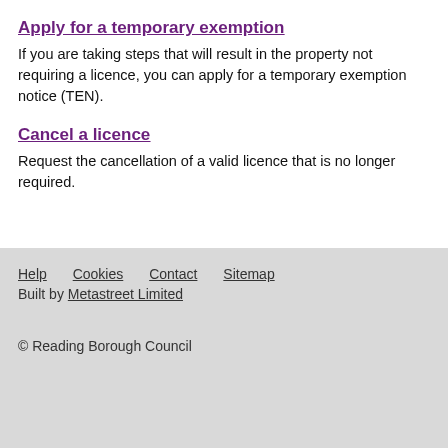Apply for a temporary exemption
If you are taking steps that will result in the property not requiring a licence, you can apply for a temporary exemption notice (TEN).
Cancel a licence
Request the cancellation of a valid licence that is no longer required.
Help   Cookies   Contact   Sitemap
Built by Metastreet Limited
© Reading Borough Council